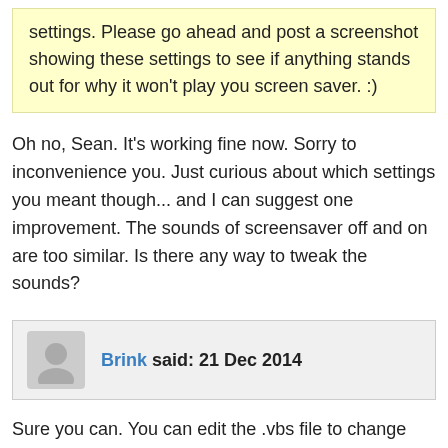settings. Please go ahead and post a screenshot showing these settings to see if anything stands out for why it won't play you screen saver. :)
Oh no, Sean. It's working fine now. Sorry to inconvenience you. Just curious about which settings you meant though... and I can suggest one improvement. The sounds of screensaver off and on are too similar. Is there any way to tweak the sounds?
Brink said: 21 Dec 2014
Sure you can. You can edit the .vbs file to change the part in red below to be the full path of the .wav file you want instead.